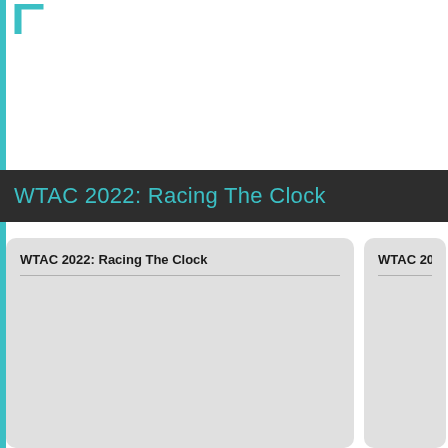[Figure (logo): Partial teal/cyan bracket logo visible at top left]
WTAC 2022: Racing The Clock
WTAC 2022: Racing The Clock
WTAC 20...